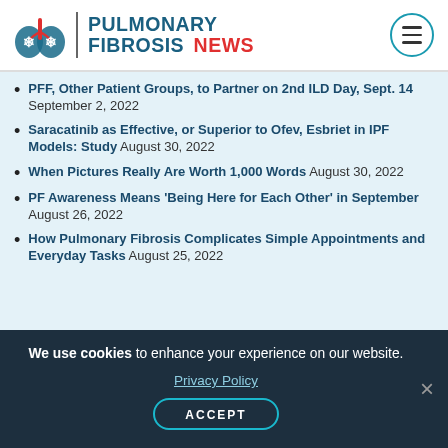PULMONARY FIBROSIS NEWS
PFF, Other Patient Groups, to Partner on 2nd ILD Day, Sept. 14 September 2, 2022
Saracatinib as Effective, or Superior to Ofev, Esbriet in IPF Models: Study August 30, 2022
When Pictures Really Are Worth 1,000 Words August 30, 2022
PF Awareness Means 'Being Here for Each Other' in September August 26, 2022
How Pulmonary Fibrosis Complicates Simple Appointments and Everyday Tasks August 25, 2022
We use cookies to enhance your experience on our website. Privacy Policy ACCEPT